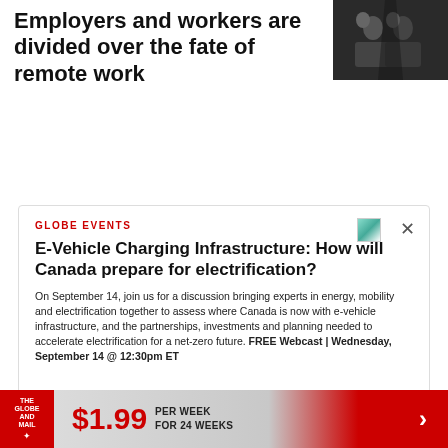Employers and workers are divided over the fate of remote work
[Figure (photo): Small thumbnail photo of people in a dark setting, possibly a meeting or interview scenario]
GLOBE EVENTS
E-Vehicle Charging Infrastructure: How will Canada prepare for electrification?
On September 14, join us for a discussion bringing experts in energy, mobility and electrification together to assess where Canada is now with e-vehicle infrastructure, and the partnerships, investments and planning needed to accelerate electrification for a net-zero future. FREE Webcast | Wednesday, September 14 @ 12:30pm ET
REGISTER NOW
$1.99 PER WEEK FOR 24 WEEKS